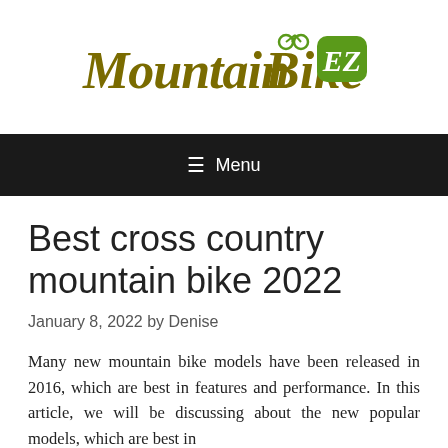[Figure (logo): MountainBikeEZ logo with stylized italic text in olive/dark yellow and green colors, with a green rounded rectangle badge containing 'EZ']
☰ Menu
Best cross country mountain bike 2022
January 8, 2022 by Denise
Many new mountain bike models have been released in 2016, which are best in features and performance. In this article, we will be discussing about the new popular models, which are best in